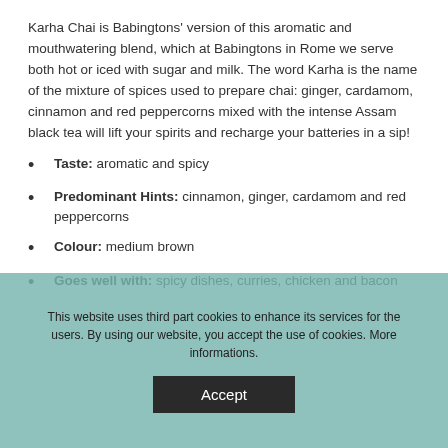Karha Chai is Babingtons' version of this aromatic and mouthwatering blend, which at Babingtons in Rome we serve both hot or iced with sugar and milk. The word Karha is the name of the mixture of spices used to prepare chai: ginger, cardamom, cinnamon and red peppercorns mixed with the intense Assam black tea will lift your spirits and recharge your batteries in a sip!
Taste: aromatic and spicy
Predominant Hints: cinnamon, ginger, cardamom and red peppercorns
Colour: medium brown
Goes well with: spicy dishes, curries, chicken and bacon
This website uses third part cookies to enhance its services for the users. By using our website, you accept the use of cookies. More informations.